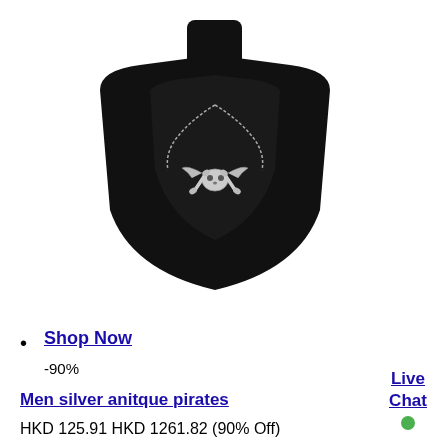[Figure (photo): A silver pirate skull crossbones pendant necklace displayed on a black jewelry bust/mannequin neck display stand.]
Shop Now
-90%
Men silver anitque pirates
HKD 125.91 HKD 1261.82 (90% Off)
Live Chat